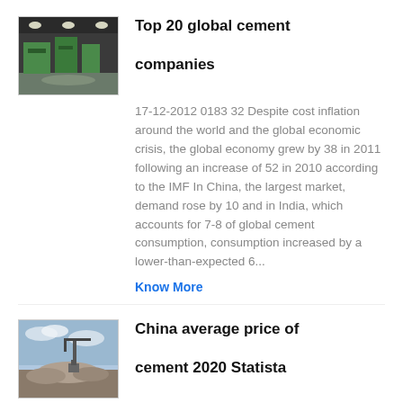[Figure (photo): Industrial factory interior with green machinery and bright overhead lighting]
Top 20 global cement companies
17-12-2012 0183 32 Despite cost inflation around the world and the global economic crisis, the global economy grew by 38 in 2011 following an increase of 52 in 2010 according to the IMF In China, the largest market, demand rose by 10 and in India, which accounts for 7-8 of global cement consumption, consumption increased by a lower-than-expected 6...
Know More
[Figure (photo): Outdoor quarry or cement plant with heavy machinery and gravel mounds under a cloudy sky]
China average price of cement 2020 Statista
08-04-2021 0183 32 As of July 2020, the average factory invoice price for cement in China was 3779 yuan per ton, which